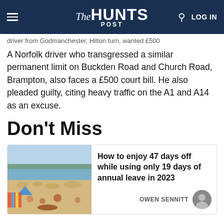The Hunts Post
driver from Godmanchester, Hilton turn, wanted £500
A Norfolk driver who transgressed a similar permanent limit on Buckden Road and Church Road, Brampton, also faces a £500 court bill. He also pleaded guilty, citing heavy traffic on the A1 and A14 as an excuse.
Don't Miss
[Figure (photo): Busy beach scene with many people on a sandy beach, colourful tents and parasols, calm sea in the background with trees on the horizon.]
How to enjoy 47 days off while using only 19 days of annual leave in 2023
OWEN SENNITT